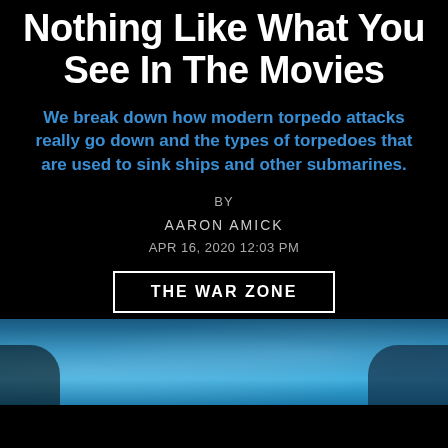Nothing Like What You See In The Movies
We break down how modern torpedo attacks really go down and the types of torpedoes that are used to sink ships and other submarines.
BY
AARON AMICK
APR 16, 2020 12:03 PM
THE WAR ZONE
[Figure (photo): Underwater photo showing blue ocean water with light reflections and what appears to be a submarine or underwater vessel]